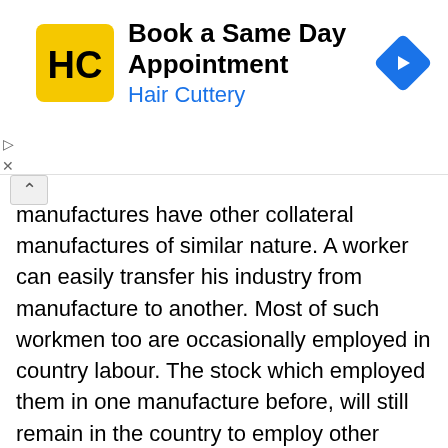[Figure (other): Hair Cuttery advertisement banner with HC logo, text 'Book a Same Day Appointment / Hair Cuttery', and a blue navigation arrow icon]
manufactures have other collateral manufactures of similar nature. A worker can easily transfer his industry from manufacture to another. Most of such workmen too are occasionally employed in country labour. The stock which employed them in one manufacture before, will still remain in the country to employ other people in some other way. The country's capital remains the same, so the demand for labour will likewise be the same, though it may be exerted in different places and occupations. Soldiers and seamen discharged from military service are free to exercise any trade within Great Britain or Ireland. Let the same natural liberty, of exercising the industry they please, be restored to all his Majesty's subjects, in the same